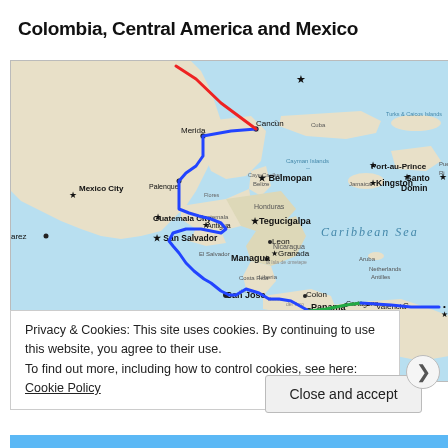Colombia, Central America and Mexico
[Figure (map): Map of Colombia, Central America and Mexico showing a travel route in blue lines connecting cities from Colombia through Panama, Costa Rica, Nicaragua, Honduras, El Salvador, Guatemala, Mexico (including Palenque, Merida, Cancun) and a red line going further north. Cities labeled include Mexico City, Merida, Cancun, Palenque, Belmopan, Guatemala City, Antigua, San Salvador, Tegucigalpa, Leon, Granada, Managua, San Jose, David, Colon, Panama City, Cartagena, Valencia, Medellin, Kingston, Port-au-Prince, Santo Domingo. Caribbean Sea is labeled. Islands including Cayman Islands, Cuba, Turks & Caicos Islands, Aruba, Netherlands Antilles are shown.]
Privacy & Cookies: This site uses cookies. By continuing to use this website, you agree to their use.
To find out more, including how to control cookies, see here: Cookie Policy
Close and accept